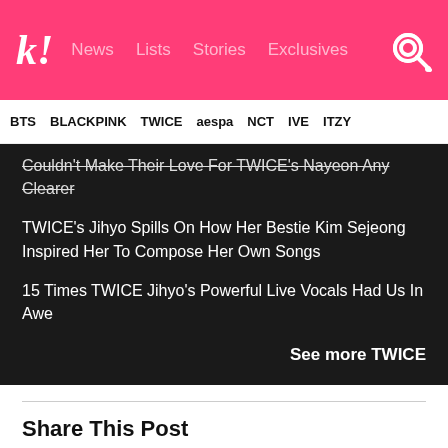k! News Lists Stories Exclusives
BTS BLACKPINK TWICE aespa NCT IVE ITZY
Couldn't Make Their Love For TWICE's Nayeon Any Clearer
TWICE's Jihyo Spills On How Her Bestie Kim Sejeong Inspired Her To Compose Her Own Songs
15 Times TWICE Jihyo's Powerful Live Vocals Had Us In Awe
See more TWICE
Share This Post
Facebook
Twitter